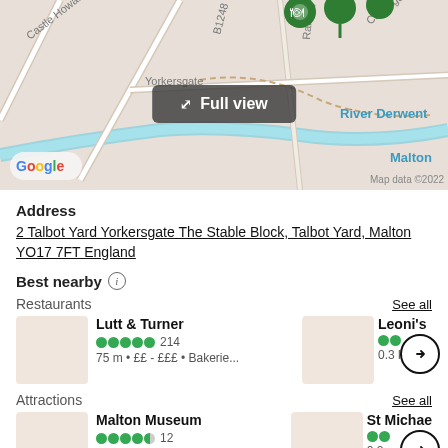[Figure (map): Google Maps screenshot showing Malton area with River Derwent, Castle Howard Rd, B1248, Railway St, Castlegate, Yorkersgate roads labeled. Map data ©2022. Malton train station marker visible. Green location pins shown.]
Address
2 Talbot Yard Yorkersgate The Stable Block, Talbot Yard, Malton YO17 7FT England
Best nearby
Restaurants
See all
Lutt & Turner
214
75 m • ££ - £££ • Bakerie...
Leoni's
0.3 k £
Attractions
See all
Malton Museum
12
0.1km • Children's Museu
St Michae
0.2